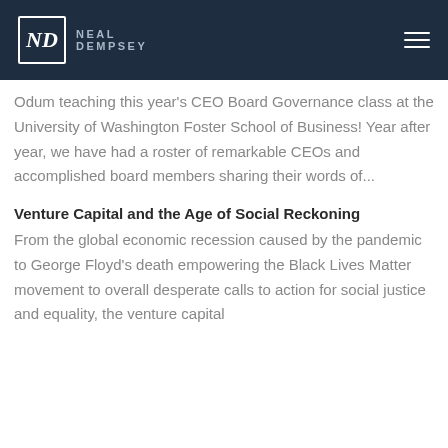NEAL DEMPSEY
Odum teaching this year's CEO Board Governance class at the University of Washington Foster School of Business! Year after year, we have had a roster of remarkable CEOs and accomplished board members sharing their words of...
Venture Capital and the Age of Social Reckoning
From the global economic recession caused by the pandemic to George Floyd's death empowering the Black Lives Matter movement to overall desperate calls to action for social justice and equality, the venture capital